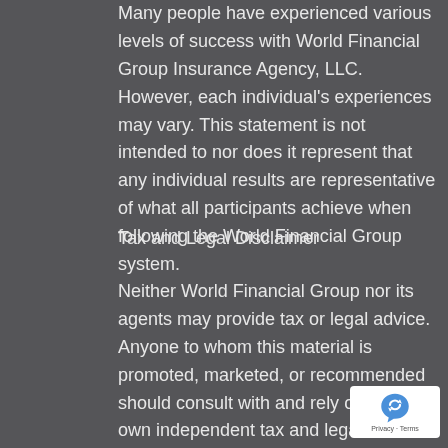Many people have experienced various levels of success with World Financial Group Insurance Agency, LLC. However, each individual's experiences may vary. This statement is not intended to nor does it represent that any individual results are representative of what all participants achieve when following the World Financial Group system.
Tax and Legal Disclaimer
Neither World Financial Group nor its agents may provide tax or legal advice.  Anyone to whom this material is promoted, marketed, or recommended should consult with and rely on their own independent tax and legal professional regarding their particular situation and the concepts presented herein.